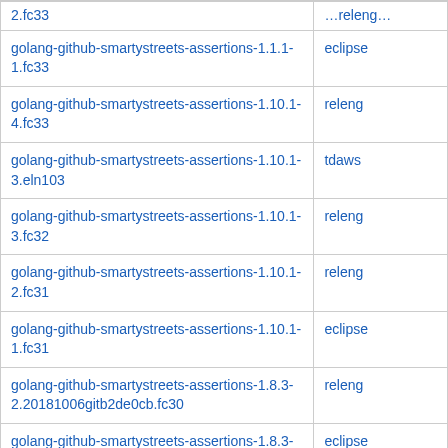| Package | Maintainer |
| --- | --- |
| golang-github-smartystreets-assertions-1.1.1-1.fc33 | eclipse |
| golang-github-smartystreets-assertions-1.10.1-4.fc33 | releng |
| golang-github-smartystreets-assertions-1.10.1-3.eln103 | tdaws |
| golang-github-smartystreets-assertions-1.10.1-3.fc32 | releng |
| golang-github-smartystreets-assertions-1.10.1-2.fc31 | releng |
| golang-github-smartystreets-assertions-1.10.1-1.fc31 | eclipse |
| golang-github-smartystreets-assertions-1.8.3-2.20181006gitb2de0cb.fc30 | releng |
| golang-github-smartystreets-assertions-1.8.3-1.20181006gitb2de0cb.fc29 | eclipse |
| golang-github-smartystreets-assertions-1.8.3-1.20181006gitb2de0cb.fc30 | eclipse |
| golang-github-smartystreets-assertions-1.6.0-0.8.git287b434.fc29 | releng |
| golang-github-smartystreets-assertions-1.6.0- | nb |